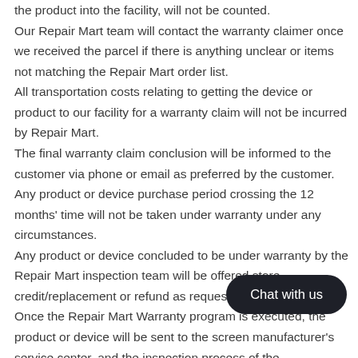the product into the facility, will not be counted. Our Repair Mart team will contact the warranty claimer once we received the parcel if there is anything unclear or items not matching the Repair Mart order list. All transportation costs relating to getting the device or product to our facility for a warranty claim will not be incurred by Repair Mart. The final warranty claim conclusion will be informed to the customer via phone or email as preferred by the customer. Any product or device purchase period crossing the 12 months' time will not be taken under warranty under any circumstances. Any product or device concluded to be under warranty by the Repair Mart inspection team will be offered store credit/replacement or refund as requested. Once the Repair Mart Warranty program is executed, the product or device will be sent to the screen manufacturer's service center, and the inspection process of the manufacturer will be needed to determine whether the problem is caused by the product itself and the inspection report will be attached. If this is the product itself, the manufacturer will perform the corresponding